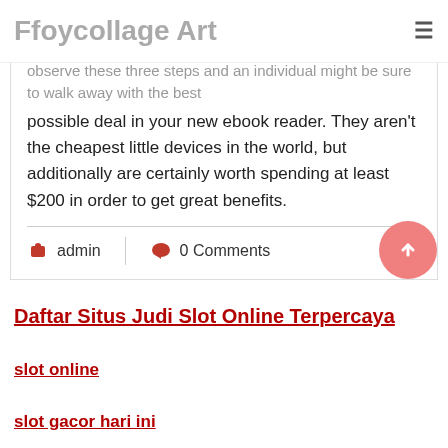Ffoycollage Art
When your goal is to acquire eBook readers for free, observe these three steps and an individual might be sure to walk away with the best possible deal in your new ebook reader. They aren't the cheapest little devices in the world, but additionally are certainly worth spending at least $200 in order to get great benefits.
admin  0 Comments
Daftar Situs Judi Slot Online Terpercaya
slot online
slot gacor hari ini